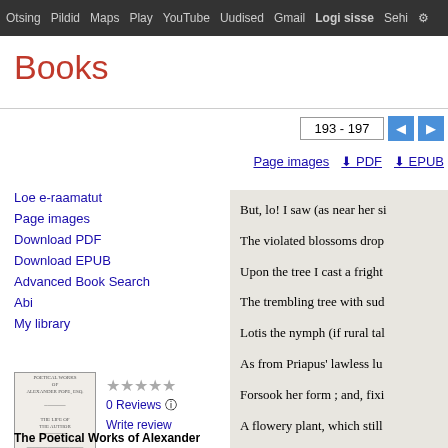Otsing Pildid Maps Play YouTube Uudised Gmail Logi sisse Sehi ⚙
Books
193 - 197
Page images  ⬇ PDF  ⬇ EPUB
Loe e-raamatut
Page images
Download PDF
Download EPUB
Advanced Book Search
Abi
My library
[Figure (illustration): Book cover thumbnail for The Poetical Works of Alexander Pope]
★★★★★ 0 Reviews  Write review
The Poetical Works of Alexander Pope, Esq: To which is Prefixed the Life of ...
But, lo! I saw (as near her si
The violated blossoms drop
Upon the tree I cast a fright
The trembling tree with sud
Lotis the nymph (if rural tal
As from Priapus' lawless lu
Forsook her form ; and, fixi
A flowery plant, which still

   This change unknown, aste
My trembling sister strove t
And first the pardon of the n
And those offended sylvan n
But when she backward wo
Her stiffening feet were to